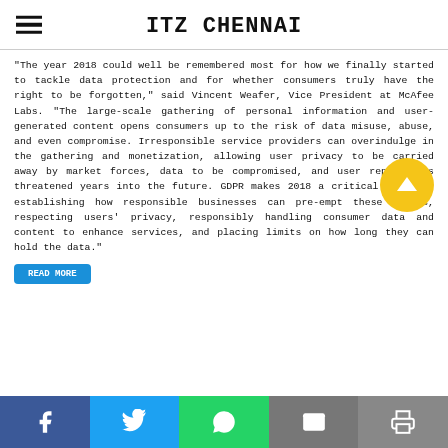ITZ CHENNAI
"The year 2018 could well be remembered most for how we finally started to tackle data protection and for whether consumers truly have the right to be forgotten," said Vincent Weafer, Vice President at McAfee Labs. "The large-scale gathering of personal information and user-generated content opens consumers up to the risk of data misuse, abuse, and even compromise. Irresponsible service providers can overindulge in the gathering and monetization, allowing user privacy to be carried away by market forces, data to be compromised, and user reputations threatened years into the future. GDPR makes 2018 a critical year for establishing how responsible businesses can pre-empt these issues, respecting users' privacy, responsibly handling consumer data and content to enhance services, and placing limits on how long they can hold the data."
[Figure (other): Social share bar with Facebook, Twitter, WhatsApp, Email, and Print buttons]